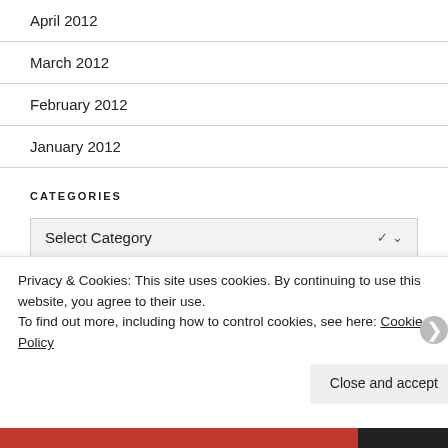April 2012
March 2012
February 2012
January 2012
CATEGORIES
Select Category
Privacy & Cookies: This site uses cookies. By continuing to use this website, you agree to their use.
To find out more, including how to control cookies, see here: Cookie Policy
Close and accept